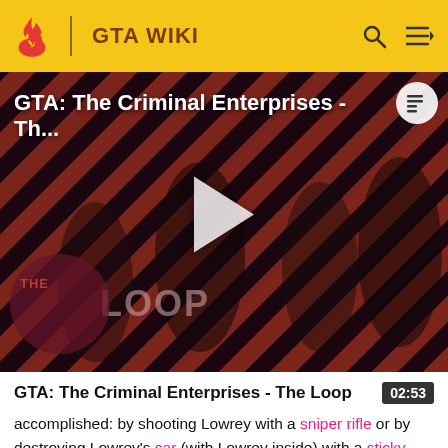GTA WIKI
[Figure (screenshot): Video thumbnail for GTA: The Criminal Enterprises - The Loop trailer, showing characters on a diagonal red and dark stripe background with a play button overlay and The Loop logo.]
GTA: The Criminal Enterprises - The Loop
accomplished: by shooting Lowrey with a sniper rifle or by destroying Lowrey's car (with Lowrey inside) with a sticky bomb. Regardless of how the player chooses to kill the target, once Lowrey is dead, Franklin must escape the